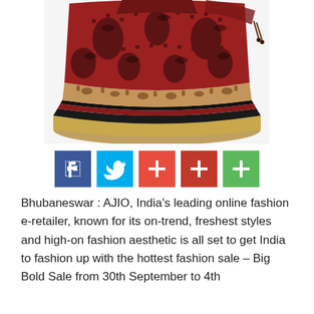[Figure (photo): A red and black printed Indian traditional lehenga/skirt with gold border trim, displayed on a white background. The garment is spread wide showing intricate floral and paisley block print patterns in dark red/maroon and black with a golden hem border.]
[Figure (infographic): A row of five social media share buttons: Facebook (dark blue), Twitter (cyan/light blue), Pinterest (orange-red), Google+ or Reddit (dark red), and WhatsApp (green). Each button contains a white icon symbol.]
Bhubaneswar : AJIO, India's leading online fashion e-retailer, known for its on-trend, freshest styles and high-on fashion aesthetic is all set to get India to fashion up with the hottest fashion sale – Big Bold Sale from 30th September to 4th